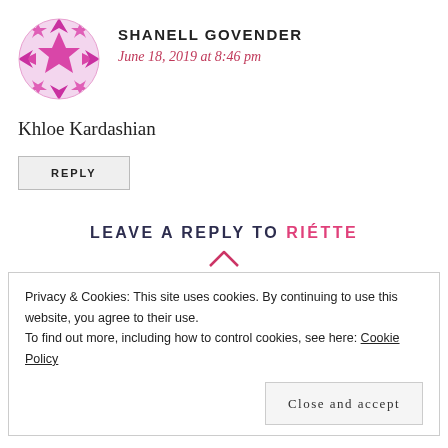[Figure (illustration): Pink geometric avatar/icon in a circular shape with a star/diamond pattern]
SHANELL GOVENDER
June 18, 2019 at 8:46 pm
Khloe Kardashian
REPLY
LEAVE A REPLY TO RIÉTTE
Privacy & Cookies: This site uses cookies. By continuing to use this website, you agree to their use.
To find out more, including how to control cookies, see here: Cookie Policy
Close and accept